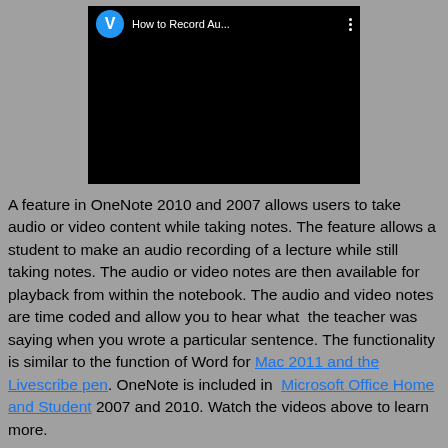[Figure (screenshot): Video thumbnail showing a YouTube-style video player with a black screen, a blue avatar circle with letter V, title 'How to Record Au...' and a three-dot menu icon.]
A feature in OneNote 2010 and 2007 allows users to take audio or video content while taking notes. The feature allows a student to make an audio recording of a lecture while still taking notes. The audio or video notes are then available for playback from within the notebook. The audio and video notes are time coded and allow you to hear what the teacher was saying when you wrote a particular sentence. The functionality is similar to the function of Word for Mac 2011 and the Livescribe pen. OneNote is included in Microsoft Office Home and Student 2007 and 2010. Watch the videos above to learn more.